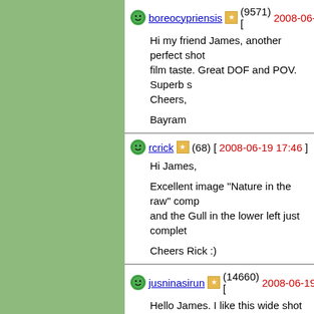boreocypriensis (9571) [2008-06-19 1...] Hi my friend James, another perfect shot film taste. Great DOF and POV. Superb s... Cheers, Bayram
rcrick (68) [2008-06-19 17:46] Hi James, Excellent image "Nature in the raw" comp... and the Gull in the lower left just complet... Cheers Rick :)
jusninasirun (14660) [2008-06-19 20:0...] Hello James. I like this wide shot giving o... this sharp image. Regards. Jusni
vanderschelden (30441) [2008-06-19...] Well done, James. A lot of different animals involved here an... effective in creating depth(and death)in y... Wonderful image and thanks for sharing ... Annick
Heaven (7912) [2008-06-19 23:03]